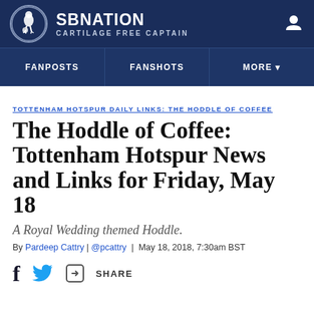SB NATION | CARTILAGE FREE CAPTAIN
TOTTENHAM HOTSPUR DAILY LINKS: THE HODDLE OF COFFEE
The Hoddle of Coffee: Tottenham Hotspur News and Links for Friday, May 18
A Royal Wedding themed Hoddle.
By Pardeep Cattry | @pcattry | May 18, 2018, 7:30am BST